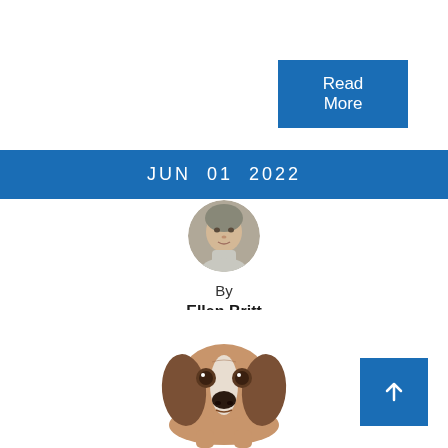Read More
JUN  01  2022
[Figure (photo): Circular avatar photo of author Ellen Britt, a woman with light features]
By
Ellen Britt
[Figure (photo): Photo of a Basset Hound puppy looking directly at the camera against a white background]
[Figure (other): Back to top button with upward arrow icon on blue background]